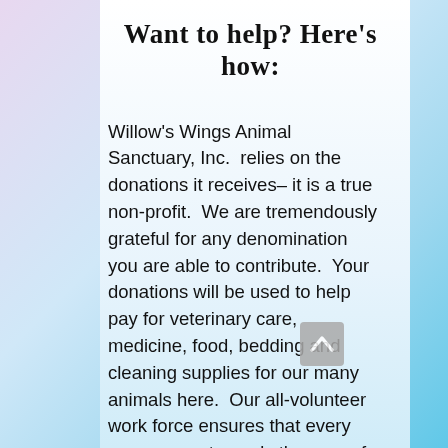Want to help? Here's how:
Willow's Wings Animal Sanctuary, Inc.  relies on the donations it receives– it is a true non-profit.  We are tremendously grateful for any denomination you are able to contribute.  Your donations will be used to help pay for veterinary care, medicine, food, bedding and cleaning supplies for our many animals here.  Our all-volunteer work force ensures that every penny goes towards the care of the animals.  Click the "Donate" Button to donate directly to our PayPal Account!